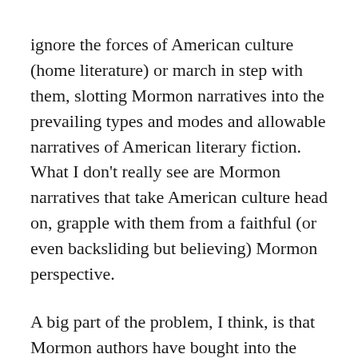ignore the forces of American culture (home literature) or march in step with them, slotting Mormon narratives into the prevailing types and modes and allowable narratives of American literary fiction. What I don't really see are Mormon narratives that take American culture head on, grapple with them from a faithful (or even backsliding but believing) Mormon perspective.
A big part of the problem, I think, is that Mormon authors have bought into the conventional wisdom of Mormonism as an imperial, dominant force of its own (not that this isn't the case — but American culture's focus on this aspect of Mormonism verges on